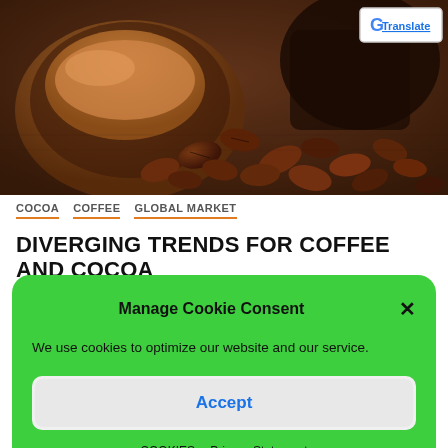[Figure (photo): Photo of cocoa beans and cocoa powder in a wooden bowl on a burlap surface, with a Google Translate button overlay in the top right corner]
COCOA   COFFEE   GLOBAL MARKET
DIVERGING TRENDS FOR COFFEE AND COCOA
Manage Cookie Consent

We use cookies to optimize our website and our service.

Accept

COOKIES   Privacy Statement